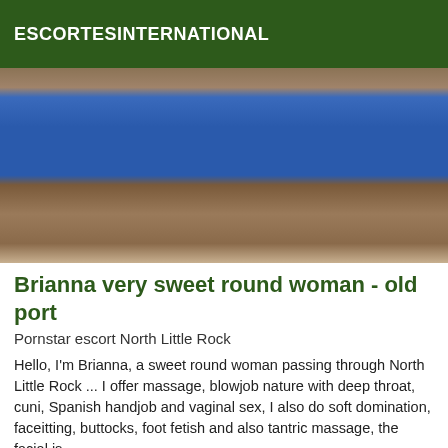ESCORTESINTERNATIONAL
[Figure (photo): Close-up photo of a person wearing a blue top/shorts]
Brianna very sweet round woman - old port
Pornstar escort North Little Rock
Hello, I'm Brianna, a sweet round woman passing through North Little Rock ... I offer massage, blowjob nature with deep throat, cuni, Spanish handjob and vaginal sex, I also do soft domination, faceitting, butt plug, foot fetish and also tantric massage, the facial is